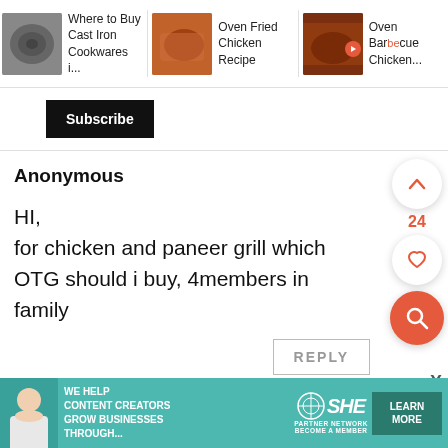[Figure (screenshot): Top navigation bar with three article cards: 'Where to Buy Cast Iron Cookwares i...', 'Oven Fried Chicken Recipe', 'Oven Barbecue Chicken...' each with thumbnail images]
Subscribe
Anonymous
HI,
for chicken and paneer grill which OTG should i buy, 4members in family
REPLY
24
[Figure (screenshot): Bottom advertisement banner: 'WE HELP CONTENT CREATORS GROW BUSINESSES THROUGH...' with SHE Media Partner Network logo and 'LEARN MORE' button]